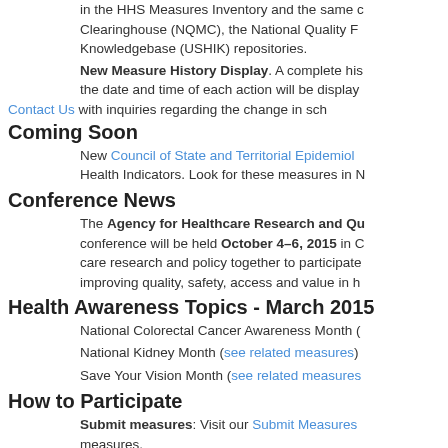in the HHS Measures Inventory and the same c Clearinghouse (NQMC), the National Quality F Knowledgebase (USHIK) repositories.
New Measure History Display. A complete his the date and time of each action will be display
Contact Us with inquiries regarding the change in sch
Coming Soon
New Council of State and Territorial Epidemiol Health Indicators. Look for these measures in N
Conference News
The Agency for Healthcare Research and Qu conference will be held October 4–6, 2015 in C care research and policy together to participate improving quality, safety, access and value in h
Health Awareness Topics - March 2015
National Colorectal Cancer Awareness Month (
National Kidney Month (see related measures)
Save Your Vision Month (see related measures
How to Participate
Submit measures: Visit our Submit Measures measures.
Suggest a measure for possible inclusion: S and measure sets that you would like to see inc
NQMC Sister Resource
Look for evidence-based clinical practice guide
Subscribe to updates from Agency fo
Email Address